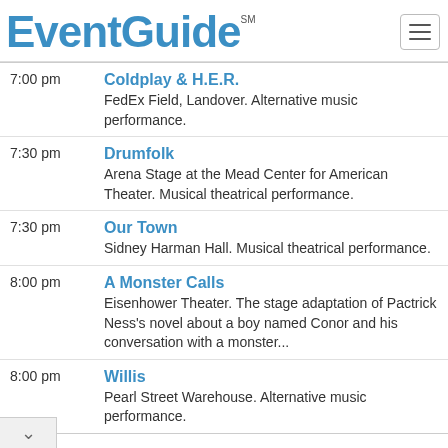EventGuide SM
7:00 pm — Coldplay & H.E.R. — FedEx Field, Landover. Alternative music performance.
7:30 pm — Drumfolk — Arena Stage at the Mead Center for American Theater. Musical theatrical performance.
7:30 pm — Our Town — Sidney Harman Hall. Musical theatrical performance.
8:00 pm — A Monster Calls — Eisenhower Theater. The stage adaptation of Pactrick Ness's novel about a boy named Conor and his conversation with a monster...
8:00 pm — Willis — Pearl Street Warehouse. Alternative music performance.
Sports
7:05 pm — Baltimore Orioles vs. Seattle Mariners — Oriole Park at Camden Yards. MLB Baseball Game